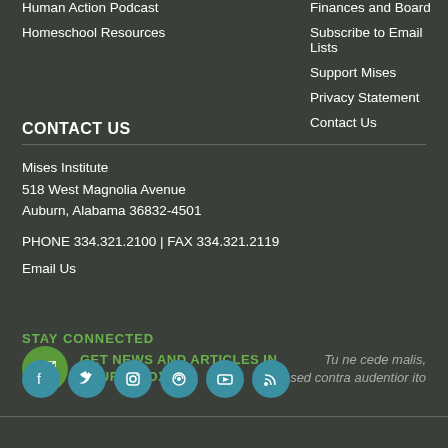Human Action Podcast
Homeschool Resources
Finances and Board
Subscribe to Email Lists
Support Mises
Privacy Statement
Contact Us
CONTACT US
Mises Institute
518 West Magnolia Avenue
Auburn, Alabama 36832-4501
PHONE 334.321.2100 | FAX 334.321.2119
Email Us
GET NEWS AND ARTICLES IN YOUR INBOX
Tu ne cede malis, sed contra audentior ito
STAY CONNECTED